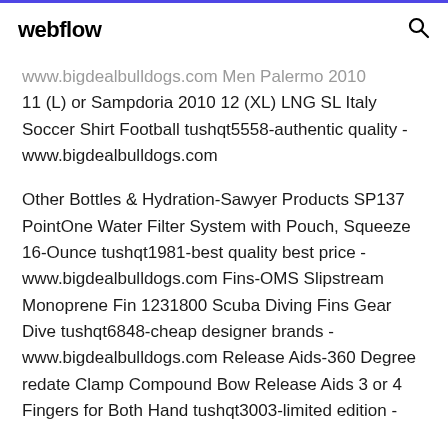webflow
www.bigdealbulldogs.com Men Palermo 2010 11 (L) or Sampdoria 2010 12 (XL) LNG SL Italy Soccer Shirt Football tushqt5558-authentic quality - www.bigdealbulldogs.com
Other Bottles & Hydration-Sawyer Products SP137 PointOne Water Filter System with Pouch, Squeeze 16-Ounce tushqt1981-best quality best price - www.bigdealbulldogs.com Fins-OMS Slipstream Monoprene Fin 1231800 Scuba Diving Fins Gear Dive tushqt6848-cheap designer brands - www.bigdealbulldogs.com Release Aids-360 Degree redate Clamp Compound Bow Release Aids 3 or 4 Fingers for Both Hand tushqt3003-limited edition -